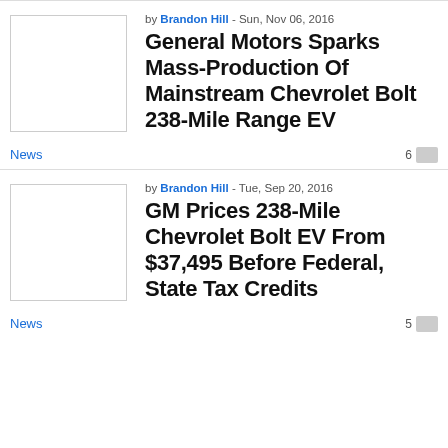by Brandon Hill - Sun, Nov 06, 2016
General Motors Sparks Mass-Production Of Mainstream Chevrolet Bolt 238-Mile Range EV
News  6
by Brandon Hill - Tue, Sep 20, 2016
GM Prices 238-Mile Chevrolet Bolt EV From $37,495 Before Federal, State Tax Credits
News  5